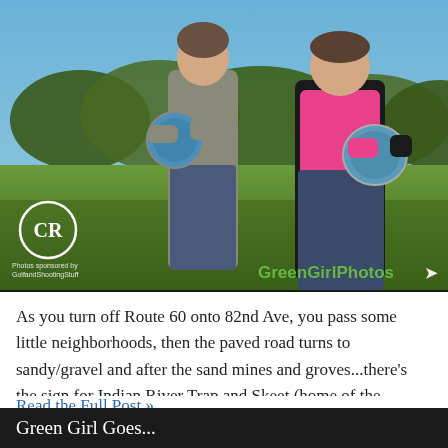[Figure (photo): Two people standing outdoors on a grass field holding round trophy plates/shields. Trees visible in background, blue sky above. CR logo watermark bottom left, GreenGirlPhotos watermark bottom right.]
As you turn off Route 60 onto 82nd Ave, you pass some little neighborhoods, then the paved road turns to sandy/gravel and after the sand mines and groves...there's the sign for Indian River Trap and Skeet (home of the Caribbean Classic). Driving in past the citrus groves makes you realize that it really is warm down here as the large ripe fruit is making the branches bend downward...with several g...
Read the Full Post »
Green Girl Goes...